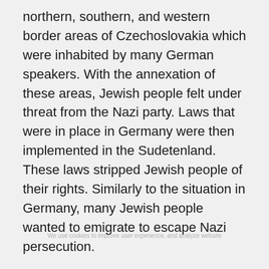northern, southern, and western border areas of Czechoslovakia which were inhabited by many German speakers. With the annexation of these areas, Jewish people felt under threat from the Nazi party. Laws that were in place in Germany were then implemented in the Sudetenland. These laws stripped Jewish people of their rights. Similarly to the situation in Germany, many Jewish people wanted to emigrate to escape Nazi persecution.
Rescue
In December 1938, Winton was planning a skiing trip to Switzerland but was then asked to visit Prague to assist his friend Martin Blake